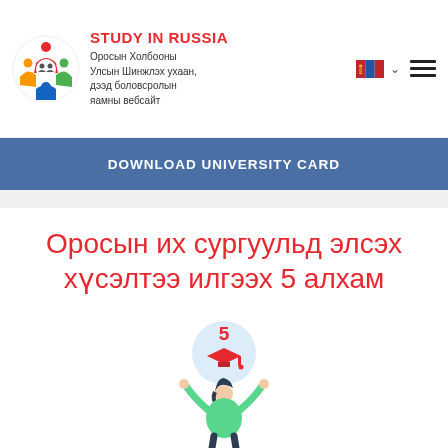STUDY IN RUSSIA — Оросын Холбооны Улсын Шинжлэх ухаан, дээд боловсролын яамны вебсайт
DOWNLOAD UNIVERSITY CARD
Оросын их сургуульд элсэх хүсэлтээ илгээх 5 алхам
[Figure (illustration): Illustration of a person with raised arms celebrating, with a circle above showing the number 5 and a graduation cap icon]